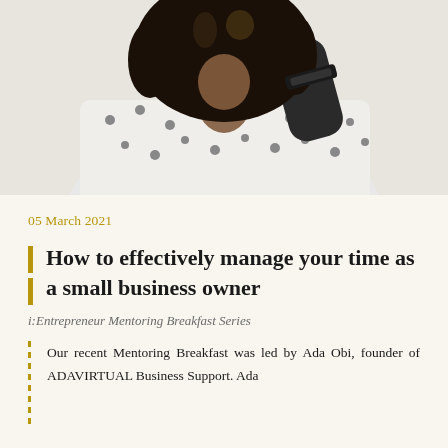[Figure (photo): Close-up photo of a person with curly black hair wearing a white polka dot blouse and dark glove or sleeve, photographed from the shoulders up against a light background.]
05 March 2021
How to effectively manage your time as a small business owner
i:Entrepreneur Mentoring Breakfast Series
Our recent Mentoring Breakfast was led by Ada Obi, founder of ADAVIRTUAL Business Support. Ada